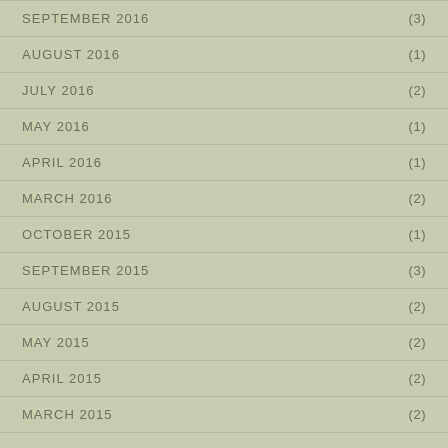SEPTEMBER 2016 (3)
AUGUST 2016 (1)
JULY 2016 (2)
MAY 2016 (1)
APRIL 2016 (1)
MARCH 2016 (2)
OCTOBER 2015 (1)
SEPTEMBER 2015 (3)
AUGUST 2015 (2)
MAY 2015 (2)
APRIL 2015 (2)
MARCH 2015 (2)